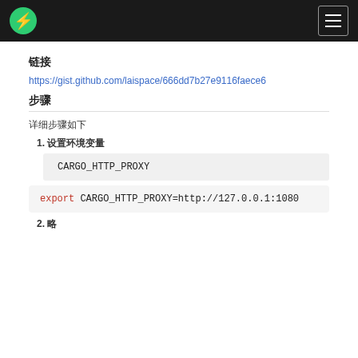Navigation bar with logo and hamburger menu
链接
https://gist.github.com/laispace/666dd7b27e9116faece6
步骤
详细步骤如下
1. 设置环境变量
CARGO_HTTP_PROXY
export CARGO_HTTP_PROXY=http://127.0.0.1:1080
2. 略